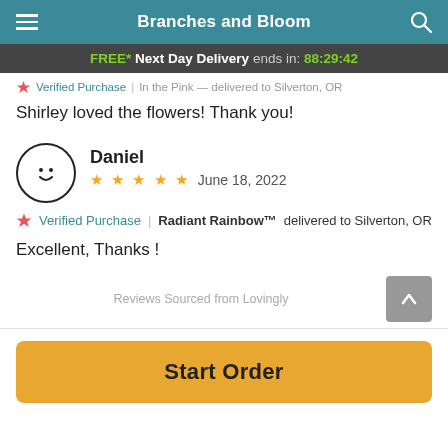Branches and Bloom
FREE* Next Day Delivery ends in: 88:29:42
Verified Purchase | In the Pink — delivered to Silverton, OR
Shirley loved the flowers! Thank you!
Daniel — June 18, 2022 — 5 stars
Verified Purchase | Radiant Rainbow™ delivered to Silverton, OR
Excellent, Thanks !
Reviews Sourced from Lovingly
Start Order